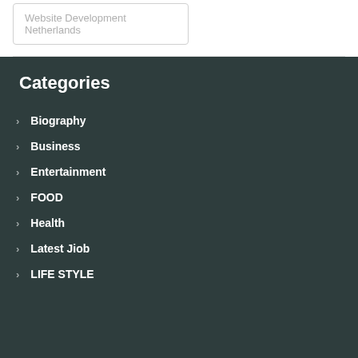Website Development Netherlands
Categories
Biography
Business
Entertainment
FOOD
Health
Latest Jiob
LIFE STYLE